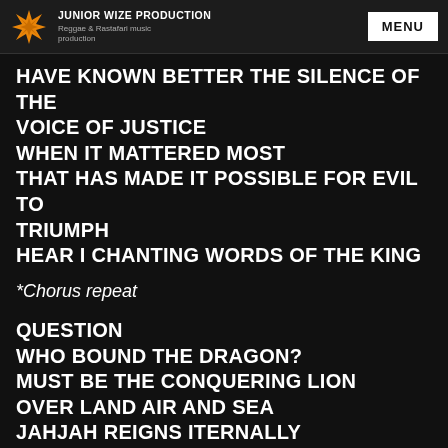JUNIOR WIZE PRODUCTION — Reggae & Rastafari music production | MENU
HAVE KNOWN BETTER THE SILENCE OF THE VOICE OF JUSTICE
WHEN IT MATTERED MOST
THAT HAS MADE IT POSSIBLE FOR EVIL TO TRIUMPH
HEAR I CHANTING WORDS OF THE KING
*Chorus repeat
QUESTION
WHO BOUND THE DRAGON?
MUST BE THE CONQUERING LION
OVER LAND AIR AND SEA
JAHJAH REIGNS ITERNALLY